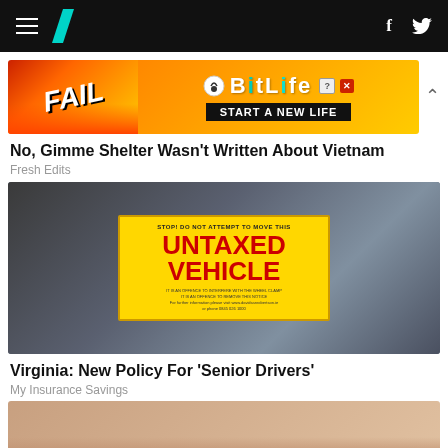HuffPost navigation bar with hamburger menu, logo, and social icons (f, Twitter)
[Figure (photo): Advertisement banner for BitLife game: FAIL text on left with cartoon character, BitLife logo and 'START A NEW LIFE' text on right with orange/yellow gradient background]
No, Gimme Shelter Wasn't Written About Vietnam
Fresh Edits
[Figure (photo): Person holding a yellow 'UNTAXED VEHICLE' notice sign out of a car window. Sign reads: STOP! DO NOT ATTEMPT TO MOVE THIS UNTAXED VEHICLE. IT IS AN OFFENCE TO INTERFERE WITH THE WHEEL CLAMP. IT IS AN OFFENCE TO REMOVE THIS NOTICE. For further information please visit www.davidsonrobertson.ie or phone 0845 026 1000]
Virginia: New Policy For 'Senior Drivers'
My Insurance Savings
[Figure (photo): Partial photo of hands, cropped at bottom of page]